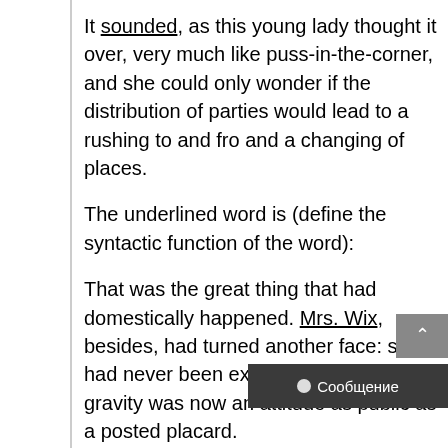It sounded, as this young lady thought it over, very much like puss-in-the-corner, and she could only wonder if the distribution of parties would lead to a rushing to and fro and a changing of places.
The underlined word is (define the syntactic function of the word):
That was the great thing that had domestically happened. Mrs. Wix, besides, had turned another face: she had never been exactly gay, but her gravity was now an attitude as public as a posted placard.
The underlined word is (define the syntactic function of the word): If it had become now, for that matter, a question of sides, there was at least a certain amount of evidence as to where were. Maisie of course, in such a delicate position